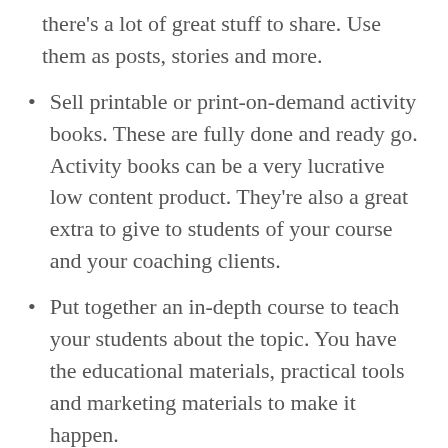there's a lot of great stuff to share. Use them as posts, stories and more.
Sell printable or print-on-demand activity books. These are fully done and ready go. Activity books can be a very lucrative low content product. They're also a great extra to give to students of your course and your coaching clients.
Put together an in-depth course to teach your students about the topic. You have the educational materials, practical tools and marketing materials to make it happen.
A lot of this content is also perfect for loading up your membership site. Don't have a membership site? You could consider starting one.